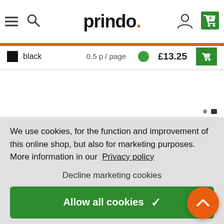[Figure (screenshot): Prindo website header with hamburger menu, search icon, prindo. logo, user icon, and cart icon with 0 items]
black   0.5 p / page   £13.25
We use cookies, for the function and improvement of this online shop, but also for marketing purposes. More information in our Privacy policy
Decline marketing cookies
Allow all cookies ✓